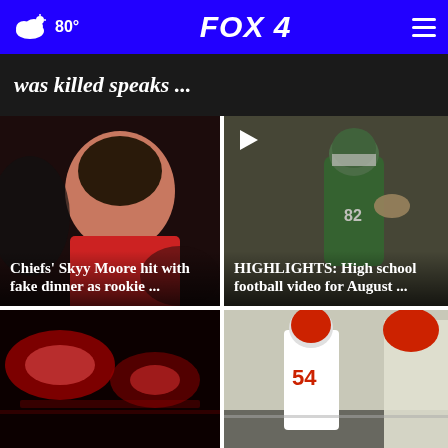80° FOX 4
was killed speaks ...
[Figure (photo): Close-up of Chiefs player Skyy Moore in red jersey]
Chiefs' Skyy Moore hit with fake dinner as rookie ...
[Figure (photo): High school football player in green uniform running with ball]
HIGHLIGHTS: High school football video for August ...
[Figure (photo): Red emergency lights at night]
[Figure (photo): Chiefs players in white jerseys with number 54 at practice]